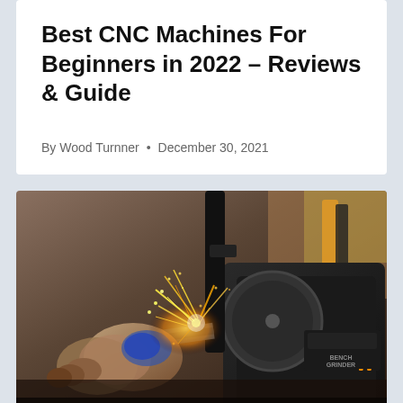Best CNC Machines For Beginners in 2022 – Reviews & Guide
By Wood Turnner • December 30, 2021
[Figure (photo): Close-up photo of a person using a bench grinder with sparks flying, a WEN brand bench grinder visible on the right side, workshop setting with tools in background]